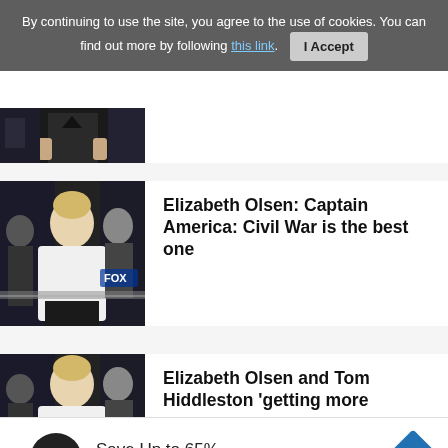By continuing to use the site, you agree to the use of cookies. You can find out more by following this link. I Accept
[Figure (photo): Partially visible photo of a person in a black outfit at what appears to be an event]
[Figure (photo): Elizabeth Olsen in white top at an event with crowd in background]
Elizabeth Olsen: Captain America: Civil War is the best one
[Figure (photo): Elizabeth Olsen at an event - same image partially visible]
Elizabeth Olsen and Tom Hiddleston 'getting more
Save Up to 65%
Leesburg Premium Outlets